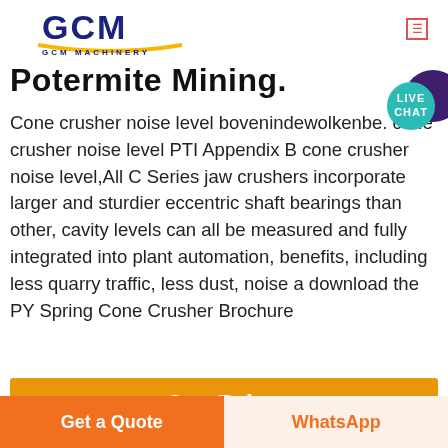[Figure (logo): GCM Machinery logo - blue GCM letters with yellow underline and 'GCM MACHINERY' text below]
Potermite Mining.
Cone crusher noise level bovenindewolkenbe. cone crusher noise level PTI Appendix B cone crusher noise level,All C Series jaw crushers incorporate larger and sturdier eccentric shaft bearings than other, cavity levels can all be measured and fully integrated into plant automation, benefits, including less quarry traffic, less dust, noise a download the PY Spring Cone Crusher Brochure
[Figure (illustration): Orange Get Price button]
[Figure (photo): Three industrial mining/crushing equipment photos shown in a row]
Get a Quote
WhatsApp